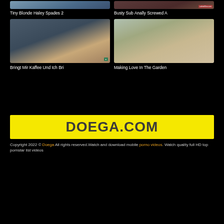[Figure (photo): Thumbnail image for Tiny Blonde Haley Spades 2]
Tiny Blonde Haley Spades 2
[Figure (photo): Thumbnail image for Busty Sub Anally Screwed A]
Busty Sub Anally Screwed A
[Figure (photo): Thumbnail image for Bringt Mir Kaffee Und Ich Bri]
Bringt Mir Kaffee Und Ich Bri
[Figure (photo): Thumbnail image for Making Love In The Garden]
Making Love In The Garden
[Figure (logo): DOEGA.COM logo on yellow background]
Copyright 2022 © Doega All rights reserved.Watch and download mobile porno videos. Watch quality full HD top pornstar list videos